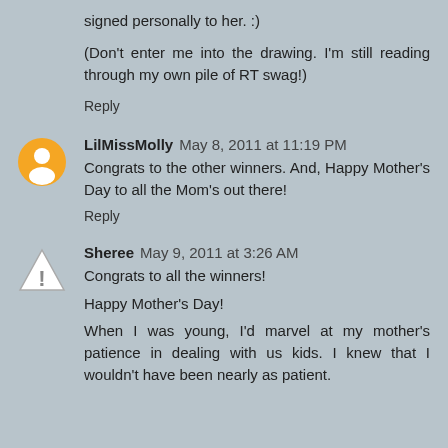signed personally to her. :)
(Don't enter me into the drawing. I'm still reading through my own pile of RT swag!)
Reply
LilMissMolly  May 8, 2011 at 11:19 PM
Congrats to the other winners. And, Happy Mother's Day to all the Mom's out there!
Reply
Sheree  May 9, 2011 at 3:26 AM
Congrats to all the winners!
Happy Mother's Day!
When I was young, I'd marvel at my mother's patience in dealing with us kids. I knew that I wouldn't have been nearly as patient.